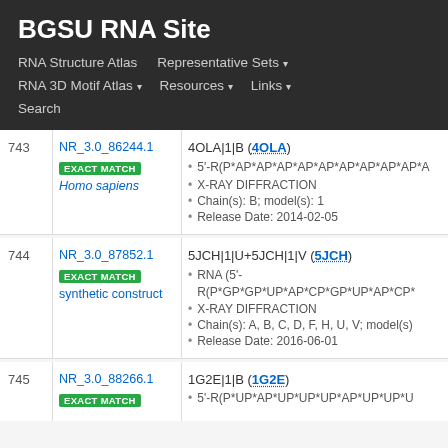BGSU RNA Site
RNA Structure Atlas | Representative Sets | RNA 3D Motif Atlas | Resources | Links | Search
| # | ID | Info |
| --- | --- | --- |
| 743 | NR_3.0_86244.1
EXACT MATCH
Homo sapiens | 4OLA|1|B (4OLA)
• 5'-R(P*AP*AP*AP*AP*AP*AP*AP*AP*AP*A
• X-RAY DIFFRACTION
• Chain(s): B; model(s): 1
• Release Date: 2014-02-05 |
| 744 | NR_3.0_87852.1
EXACT MATCH
synthetic construct | 5JCH|1|U+5JCH|1|V (5JCH)
• RNA (5'-R(P*GP*GP*UP*AP*CP*GP*UP*AP*CP*
• X-RAY DIFFRACTION
• Chain(s): A, B, C, D, F, H, U, V; model(s)
• Release Date: 2016-06-01 |
| 745 | NR_3.0_88266.1
EXACT MATCH | 1G2E|1|B (1G2E)
• 5'-R(P*UP*AP*UP*UP*UP*AP*UP*UP*U |